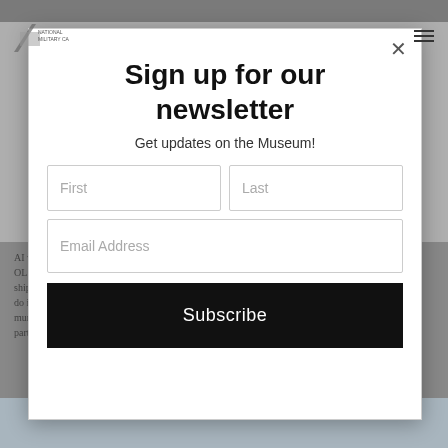Sign up for our newsletter
Get updates on the Museum!
First
Last
Email Address
Subscribe